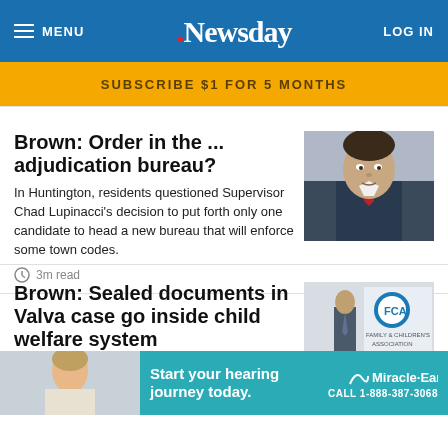MENU | Newsday | LOG IN
SUBSCRIBE $1 FOR 5 MONTHS
Brown: Order in the ... adjudication bureau?
In Huntington, residents questioned Supervisor Chad Lupinacci's decision to put forth only one candidate to head a new bureau that will enforce some town codes.
3m read
[Figure (photo): Portrait photo of a man in a suit with red tie]
Brown: Sealed documents in Valva case go inside child welfare system
The documents... the actions... of a system...
[Figure (photo): Photo of a man standing in front of Family & Children's Association sign]
[Figure (photo): Photo of a woman]
Start your hearing journey today. | Miracle-Ear CALL 1-888-387-3068